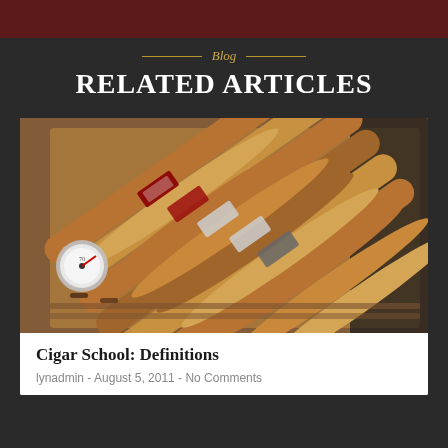Blog
RELATED ARTICLES
[Figure (photo): Overhead photo of an open wooden humidor containing a row of premium cigars with branded bands, with a hygrometer visible on the left side.]
Cigar School: Definitions
lynadmin - August 5, 2011 - No Comments